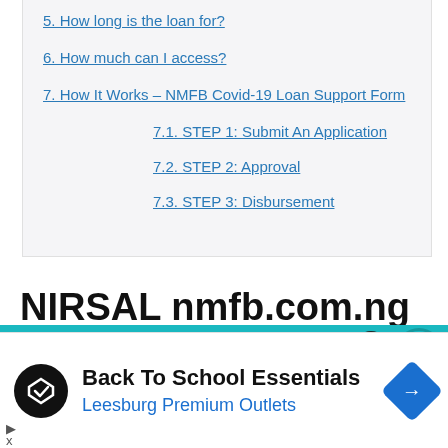5. How long is the loan for?
6. How much can I access?
7. How It Works – NMFB Covid-19 Loan Support Form
7.1. STEP 1: Submit An Application
7.2. STEP 2: Approval
7.3. STEP 3: Disbursement
NIRSAL nmfb.com.ng Covid-19
an Application Form
Back To School Essentials
Leesburg Premium Outlets